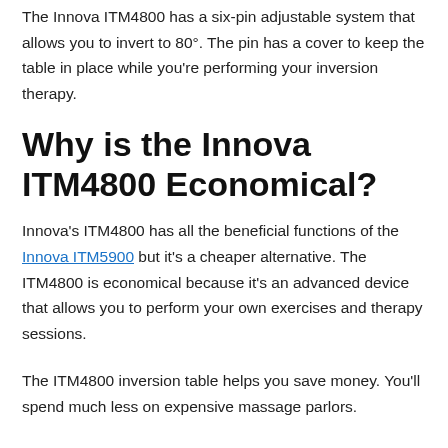The Innova ITM4800 has a six-pin adjustable system that allows you to invert to 80°. The pin has a cover to keep the table in place while you're performing your inversion therapy.
Why is the Innova ITM4800 Economical?
Innova's ITM4800 has all the beneficial functions of the Innova ITM5900 but it's a cheaper alternative. The ITM4800 is economical because it's an advanced device that allows you to perform your own exercises and therapy sessions.
The ITM4800 inversion table helps you save money. You'll spend much less on expensive massage parlors.